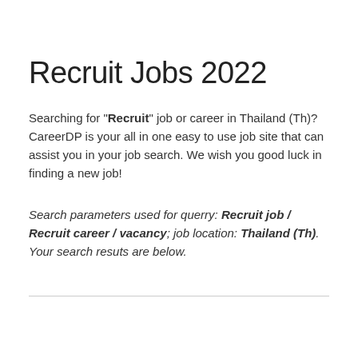Recruit Jobs 2022
Searching for "Recruit" job or career in Thailand (Th)? CareerDP is your all in one easy to use job site that can assist you in your job search. We wish you good luck in finding a new job!
Search parameters used for querry: Recruit job / Recruit career / vacancy; job location: Thailand (Th). Your search resuts are below.